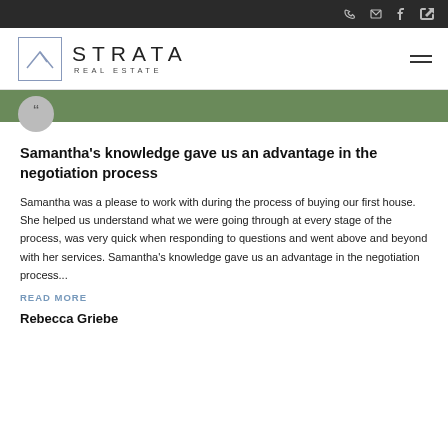[Figure (logo): Strata Real Estate logo with geometric house icon and company name]
Samantha's knowledge gave us an advantage in the negotiation process
Samantha was a please to work with during the process of buying our first house. She helped us understand what we were going through at every stage of the process, was very quick when responding to questions and went above and beyond with her services. Samantha's knowledge gave us an advantage in the negotiation process...
READ MORE
Rebecca Griebe